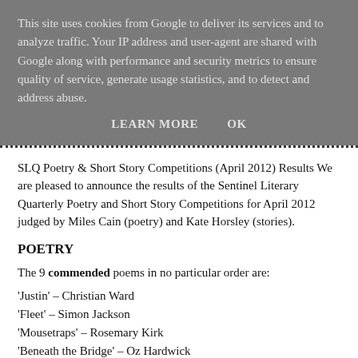This site uses cookies from Google to deliver its services and to analyze traffic. Your IP address and user-agent are shared with Google along with performance and security metrics to ensure quality of service, generate usage statistics, and to detect and address abuse.
LEARN MORE   OK
SLQ Poetry & Short Story Competitions (April 2012) Results We are pleased to announce the results of the Sentinel Literary Quarterly Poetry and Short Story Competitions for April 2012 judged by Miles Cain (poetry) and Kate Horsley (stories).
POETRY
The 9 commended poems in no particular order are:
'Justin' – Christian Ward
'Fleet' – Simon Jackson
'Mousetraps' – Rosemary Kirk
'Beneath the Bridge' – Oz Hardwick
'Queen' – Terry Jones